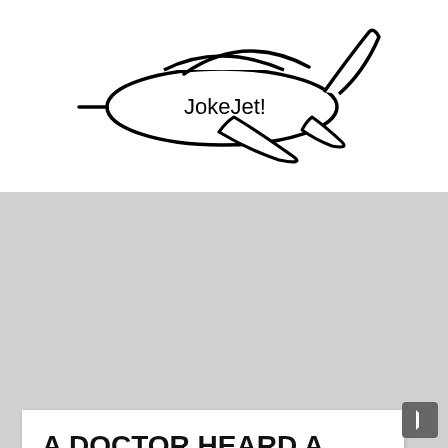[Figure (logo): JokeJet! logo: outline drawing of a commercial airplane facing right with 'JokeJet!' text written on the fuselage]
A DOCTOR HEARD A FUNNY NOISE COMING FROM HIS WATER HEATER AND CALLED THE PLUMBER.